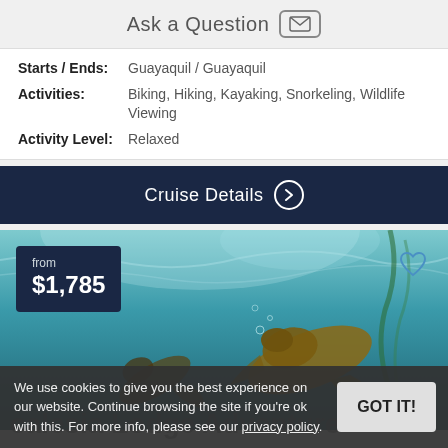Ask a Question
| Starts / Ends: | Guayaquil / Guayaquil |
| Activities: | Biking, Hiking, Kayaking, Snorkeling, Wildlife Viewing |
| Activity Level: | Relaxed |
Cruise Details →
[Figure (photo): Underwater photo of sea lions / marine wildlife swimming in turquoise water]
from $1,785
We use cookies to give you the best experience on our website. Continue browsing the site if you're ok with this. For more info, please see our privacy policy.
GOT IT!
Scalesia Lodge Adventure